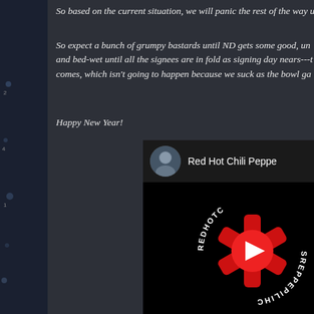So based on the current situation, we will panic the rest of the way u
So expect a bunch of grumpy bastards until ND gets some good, un... and bed-wet until all the signees are in fold as signing day nears---t comes, which isn't going to happen because we suck as the bowl ga
Happy New Year!
[Figure (screenshot): YouTube embed showing Red Hot Chili Peppers video with RHCP logo (red asterisk with YouTube play button) on black background]